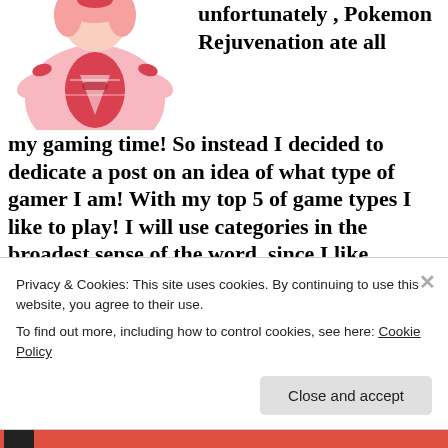[Figure (illustration): Anime-style character illustration, a pink and red dressed figure with decorative elements, cropped at top left.]
unfortunately , Pokemon Rejuvenation ate all my gaming time! So instead I decided to dedicate a post on an idea of what type of gamer I am! With my top 5 of game types I like to play! I will use categories in the broadest sense of the word, since I like variation! Per category I will specify how much I like certain sub-genres. Each category will also feature a game I really want to play!
Privacy & Cookies: This site uses cookies. By continuing to use this website, you agree to their use.
To find out more, including how to control cookies, see here: Cookie Policy
Close and accept